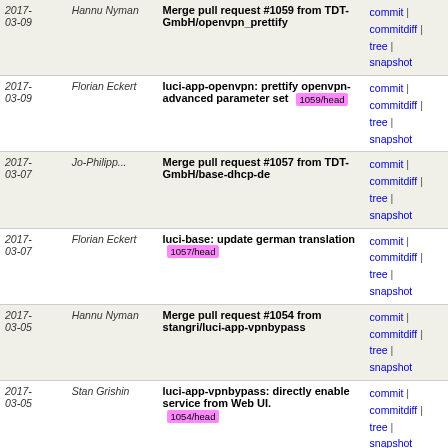| Date | Author | Message | Links |
| --- | --- | --- | --- |
| 2017-03-09 | Hannu Nyman | Merge pull request #1059 from TDT-GmbH/openvpn_prettify | commit | commitdiff | tree | snapshot |
| 2017-03-09 | Florian Eckert | luci-app-openvpn: prettify openvpn-advanced parameter set [1059/head] | commit | commitdiff | tree | snapshot |
| 2017-03-07 | Jo-Philipp... | Merge pull request #1057 from TDT-GmbH/base-dhcp-de | commit | commitdiff | tree | snapshot |
| 2017-03-07 | Florian Eckert | luci-base: update german translation [1057/head] | commit | commitdiff | tree | snapshot |
| 2017-03-05 | Hannu Nyman | Merge pull request #1054 from stangri/luci-app-vpnbypass | commit | commitdiff | tree | snapshot |
| 2017-03-05 | Stan Grishin | luci-app-vpnbypass: directly enable service from Web UI. [1054/head] | commit | commitdiff | tree | snapshot |
| 2017-03-04 | Hannu Nyman | Merge pull request #1047 from hafu/ffp-profile | commit | commitdiff | tree | snapshot |
| 2017-03-04 | Hannu Nyman | i18n: sync translations | commit | commitdiff | tree | snapshot |
| 2017-03-03 | Hannu Nyman | Merge pull request #1051 from luizluca/pt-br-update | commit | commitdiff | tree | snapshot |
| 2017-03-03 | Luiz Angelo... | luci-app-wireguard: Add pt-br translation [1051/head] | commit | commitdiff | tree | snapshot |